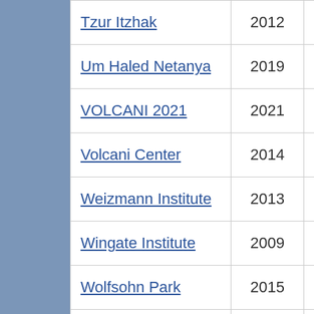| Name | Year | Person |
| --- | --- | --- |
| Tzur Itzhak | 2012 | Ziv Noima… |
| Um Haled Netanya | 2019 | Ziv Noima… |
| VOLCANI 2021 | 2021 | ZIV NOIM… |
| Volcani Center | 2014 | Oren, Ode… |
| Weizmann Institute | 2013 | Oded Verb… |
| Wingate Institute | 2009 | Oded Verb… |
| Wolfsohn Park | 2015 | Aram Yaak… |
| Yaqum | 2005 | Pavel Levi… |